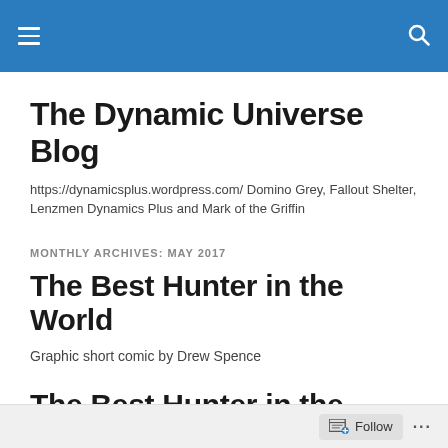The Dynamic Universe Blog navigation header
The Dynamic Universe Blog
https://dynamicsplus.wordpress.com/ Domino Grey, Fallout Shelter, Lenzmen Dynamics Plus and Mark of the Griffin
MONTHLY ARCHIVES: MAY 2017
The Best Hunter in the World
Graphic short comic by Drew Spence
The Best Hunter in the World
Follow ...